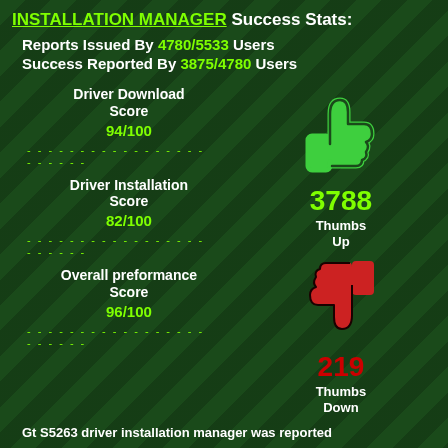INSTALLATION MANAGER Success Stats:
Reports Issued By 4780/5533 Users
Success Reported By 3875/4780 Users
Driver Download Score
94/100
Driver Installation Score
82/100
Overall preformance Score
96/100
[Figure (illustration): Green thumbs up icon]
3788 Thumbs Up
[Figure (illustration): Red thumbs down icon]
219 Thumbs Down
Gt S5263 driver installation manager was reported